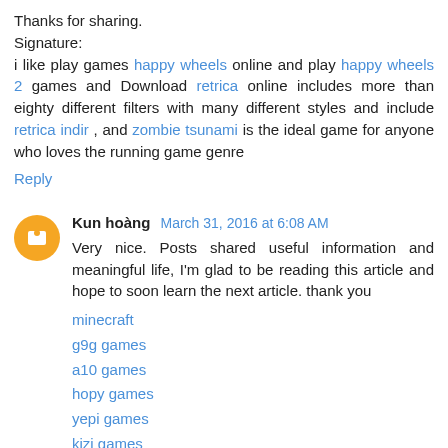Thanks for sharing.
Signature:
i like play games happy wheels online and play happy wheels 2 games and Download retrica online includes more than eighty different filters with many different styles and include retrica indir , and zombie tsunami is the ideal game for anyone who loves the running game genre
Reply
Kun hoàng  March 31, 2016 at 6:08 AM
Very nice. Posts shared useful information and meaningful life, I'm glad to be reading this article and hope to soon learn the next article. thank you
minecraft
g9g games
a10 games
hopy games
yepi games
kizi games
friv games